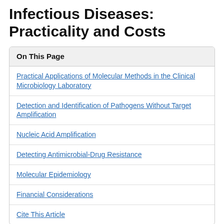Infectious Diseases: Practicality and Costs
On This Page
Practical Applications of Molecular Methods in the Clinical Microbiology Laboratory
Detection and Identification of Pathogens Without Target Amplification
Nucleic Acid Amplification
Detecting Antimicrobial-Drug Resistance
Molecular Epidemiology
Financial Considerations
Cite This Article